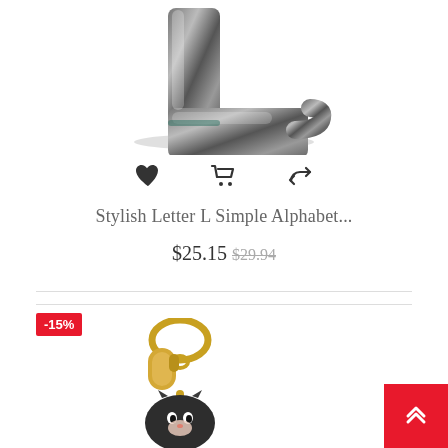[Figure (photo): Metallic silver/dark letter L keychain charm on white background]
[Figure (illustration): Three action icons: heart (wishlist), shopping cart, and refresh/retweet icon]
Stylish Letter L Simple Alphabet...
$25.15 $29.94
-15%
[Figure (photo): Cat keychain with gold-tone lobster clasp and dark round pendant with cat face]
[Figure (illustration): Back to top button - red square with white chevron up arrows]